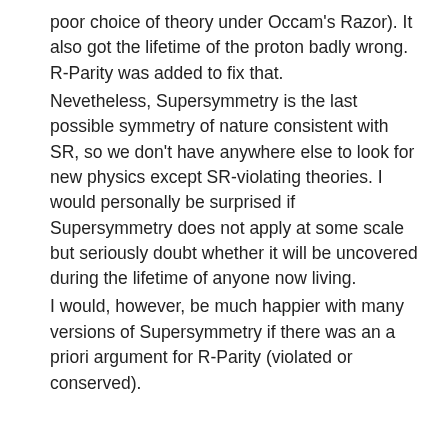poor choice of theory under Occam's Razor). It also got the lifetime of the proton badly wrong. R-Parity was added to fix that. Nevetheless, Supersymmetry is the last possible symmetry of nature consistent with SR, so we don't have anywhere else to look for new physics except SR-violating theories. I would personally be surprised if Supersymmetry does not apply at some scale but seriously doubt whether it will be uncovered during the lifetime of anyone now living. I would, however, be much happier with many versions of Supersymmetry if there was an a priori argument for R-Parity (violated or conserved).